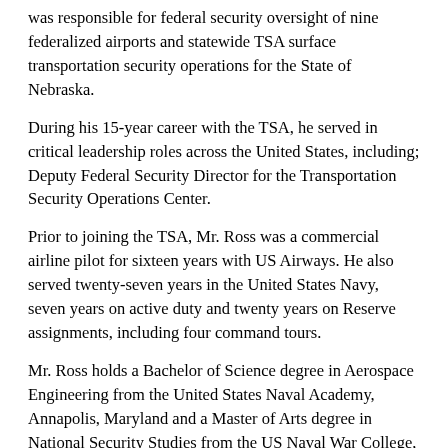was responsible for federal security oversight of nine federalized airports and statewide TSA surface transportation security operations for the State of Nebraska.
During his 15-year career with the TSA, he served in critical leadership roles across the United States, including; Deputy Federal Security Director for the Transportation Security Operations Center.
Prior to joining the TSA, Mr. Ross was a commercial airline pilot for sixteen years with US Airways. He also served twenty-seven years in the United States Navy, seven years on active duty and twenty years on Reserve assignments, including four command tours.
Mr. Ross holds a Bachelor of Science degree in Aerospace Engineering from the United States Naval Academy, Annapolis, Maryland and a Master of Arts degree in National Security Studies from the US Naval War College, Newport, Rhode Island. He is an Office of Personnel Management (OPM) certified Senior Executive and retired from the US Navy Reserve as a Captain.